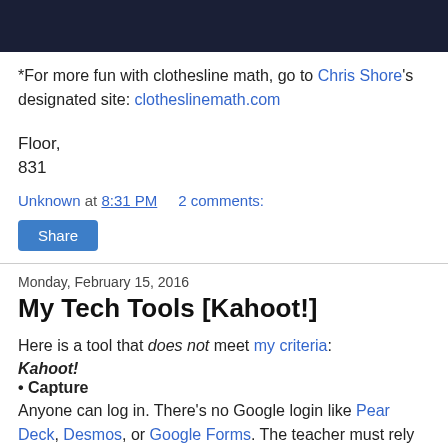[Figure (other): Dark navy banner image at the top of the page]
*For more fun with clothesline math, go to Chris Shore's designated site: clotheslinemath.com
Floor,
831
Unknown at 8:31 PM    2 comments:
Share
Monday, February 15, 2016
My Tech Tools [Kahoot!]
Here is a tool that does not meet my criteria:
Kahoot!
• Capture
Anyone can log in. There's no Google login like Pear Deck, Desmos, or Google Forms. The teacher must rely on